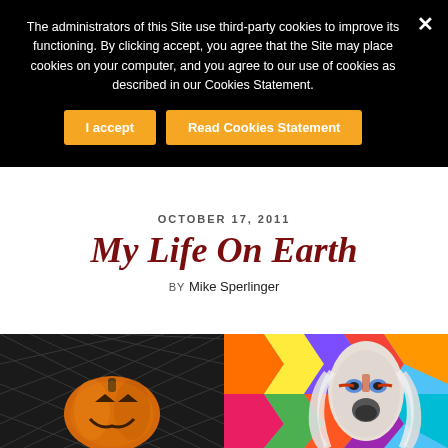The administrators of this Site use third-party cookies to improve its functioning. By clicking accept, you agree that the Site may place cookies on your computer, and you agree to our use of cookies as described in our Cookies Statement.
I accept
Read Cookies Statement
OCTOBER 17, 2011
My Life On Earth
BY Mike Sperlinger
[Figure (photo): Photo of a carved jack-o'-lantern pumpkin against a dark lattice background]
[Figure (illustration): Colorful illustration/drawing of a face with long white hair against a zigzag patterned background in bright colors]